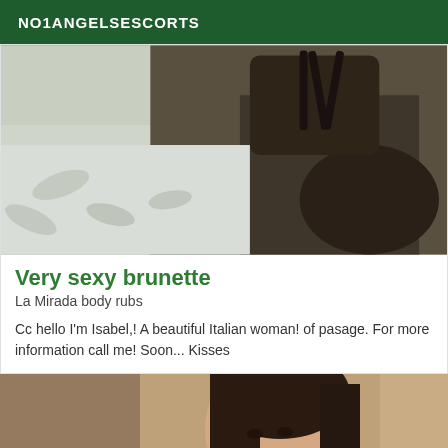NO1ANGELSESCORTS
[Figure (photo): Photo of a woman in black fishnet stockings and lingerie posing on a bed with white patterned bedding]
Very sexy brunette
La Mirada body rubs
Cc hello I'm Isabel,! A beautiful Italian woman! of pasage. For more information call me! Soon... Kisses
[Figure (photo): Photo of a brunette woman's face and hair, partially blurred, warm indoor background]